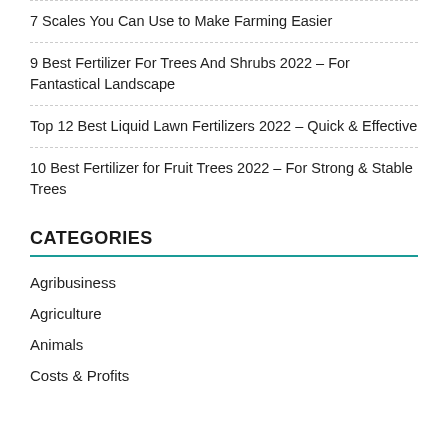7 Scales You Can Use to Make Farming Easier
9 Best Fertilizer For Trees And Shrubs 2022 – For Fantastical Landscape
Top 12 Best Liquid Lawn Fertilizers 2022 – Quick & Effective
10 Best Fertilizer for Fruit Trees 2022 – For Strong & Stable Trees
CATEGORIES
Agribusiness
Agriculture
Animals
Costs & Profits